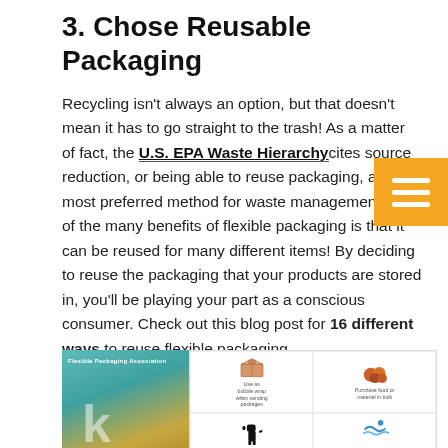3. Chose Reusable Packaging
Recycling isn't always an option, but that doesn't mean it has to go straight to the trash! As a matter of fact, the U.S. EPA Waste Hierarchy cites source reduction, or being able to reuse packaging, as the most preferred method for waste management. One of the many benefits of flexible packaging is that it can be reused for many different items! By deciding to reuse the packaging that your products are stored in, you'll be playing your part as a conscious consumer. Check out this blog post for 16 different ways to reuse flexible packaging.
[Figure (infographic): Infographic showing reusable packaging ideas: a flexible packaging bag (Flexible Packaging Association), use as bubble wrap when sending packages (box icon), purchase food or material in bulk (nuts/food icon), take on walks to clean up after your pets (dog icon), swimming icon, collect and discard (pan icon)]